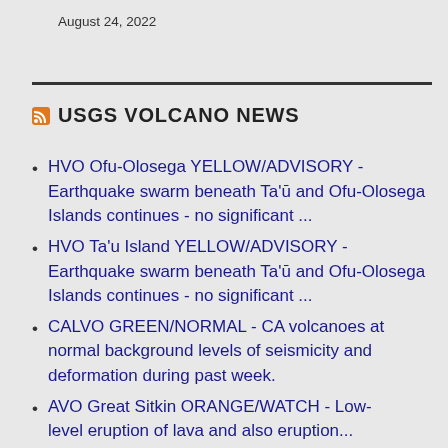August 24, 2022
USGS VOLCANO NEWS
HVO Ofu-Olosega YELLOW/ADVISORY - Earthquake swarm beneath Ta'ū and Ofu-Olosega Islands continues - no significant ...
HVO Ta'u Island YELLOW/ADVISORY - Earthquake swarm beneath Ta'ū and Ofu-Olosega Islands continues - no significant ...
CALVO GREEN/NORMAL - CA volcanoes at normal background levels of seismicity and deformation during past week.
AVO Great Sitkin ORANGE/WATCH - Low-level eruption of lava and also eruption...